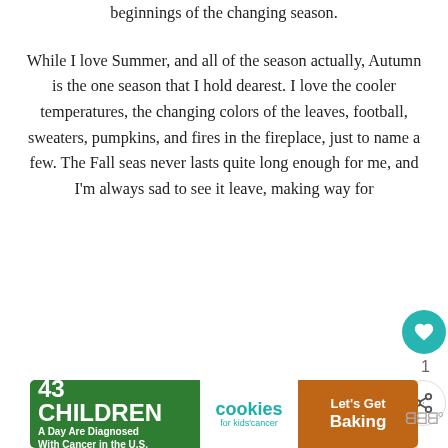beginnings of the changing season.
While I love Summer, and all of the season actually, Autumn is the one season that I hold dearest. I love the cooler temperatures, the changing colors of the leaves, football, sweaters, pumpkins, and fires in the fireplace, just to name a few. The Fall seas never lasts quite long enough for me, and I'm always sad to see it leave, making way for
[Figure (other): Ad banner: '43 CHILDREN A Day Are Diagnosed With Cancer in the U.S.' with cookies for kids' cancer logo and 'Let's Get Baking' button]